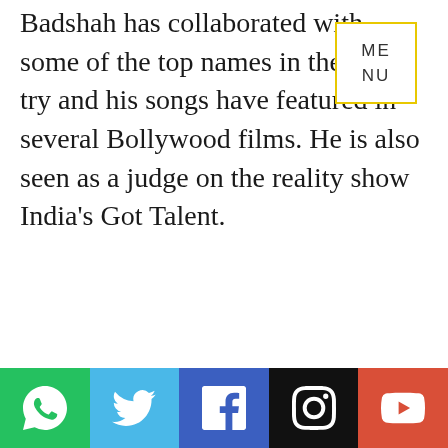Badshah has collaborated with some of the top names in the country and his songs have featured in several Bollywood films. He is also seen as a judge on the reality show India's Got Talent.
[Figure (other): A yellow-bordered box overlay displaying 'ME NU' text, representing a menu button UI element]
[Figure (infographic): Social sharing bar with five icon buttons: WhatsApp (green), Twitter (light blue), Facebook (blue), Instagram (black), YouTube (red)]